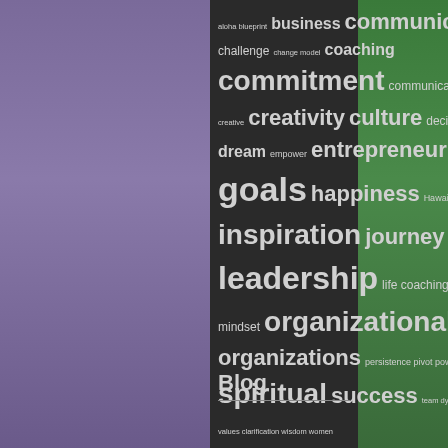[Figure (infographic): Word cloud on dark background with purple left panel and green right panel. Words include: aloha, blueprint, business, communication, challenge, change model, coaching, commitment, communication, create, creative, creativity, culture, decisions, dream, empower, entrepreneur, executive, forum, goals, happiness, Hawaii, honest, imagination, inspiration, journey, kind, knowledge, leadership, life coaching, love, mindset, organizational culture, organizations, persistence, pivot, power, serenity, soul, spiritual, success, team dynamics, Teams, values clarification, wisdom, women]
Blog